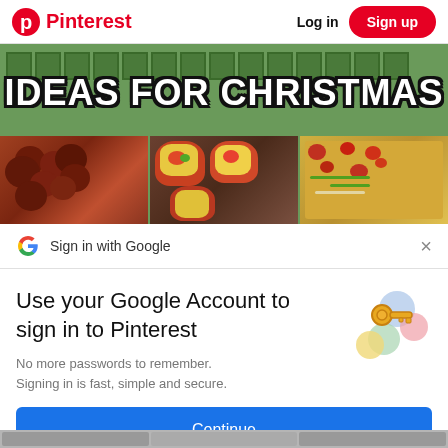Pinterest   Log in   Sign up
[Figure (photo): Banner image with green background showing 'IDEAS FOR CHRISTMAS' text in bold white with black outline, with photos of Christmas food items below: meatballs, stuffed peppers, and pizza casserole. Top edge shows decorative advent calendar squares.]
Sign in with Google
Use your Google Account to sign in to Pinterest
No more passwords to remember. Signing in is fast, simple and secure.
[Figure (illustration): Google key icon illustration with colorful circles (blue, yellow, green, red) and a gold key]
Continue